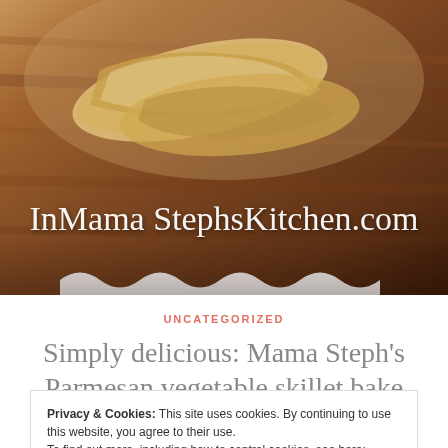[Figure (photo): Food photo showing folded crepes or wraps on a wooden surface with InMamaStephsKitchen.com brand overlay in cursive white text]
UNCATEGORIZED
Simply delicious: Mama Steph's Parmesan vegetable skillet bake
June 21, 2015 · Mama Steph · Leave a comment
Privacy & Cookies: This site uses cookies. By continuing to use this website, you agree to their use.
To find out more, including how to control cookies, see here: Cookie Policy
Close and accept